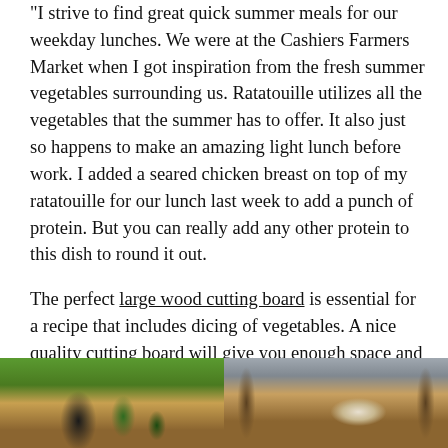"I strive to find great quick summer meals for our weekday lunches. We were at the Cashiers Farmers Market when I got inspiration from the fresh summer vegetables surrounding us. Ratatouille utilizes all the vegetables that the summer has to offer. It also just so happens to make an amazing light lunch before work. I added a seared chicken breast on top of my ratatouille for our lunch last week to add a punch of protein. But you can really add any other protein to this dish to round it out.

The perfect large wood cutting board is essential for a recipe that includes dicing of vegetables. A nice quality cutting board will give you enough space and will last a lifetime." -Andi
[Figure (photo): Two side-by-side photos at the bottom of the page. Left photo shows vegetables including what appears to be zucchini and eggplant in a wicker basket outdoors with greenery in background. Right photo shows vegetables/ingredients on a wooden cutting board or table outdoors.]